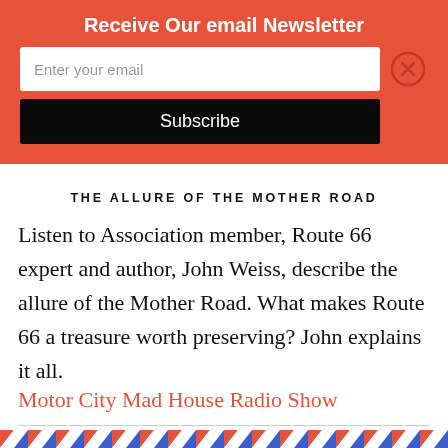Receive Our email Newsletter
Enter your email
Subscribe
THE ALLURE OF THE MOTHER ROAD
Listen to Association member, Route 66 expert and author, John Weiss, describe the allure of the Mother Road. What makes Route 66 a treasure worth preserving? John explains it all.
Motor City Mad House Radio Show